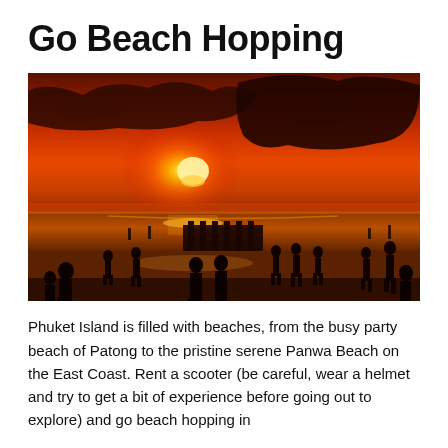Go Beach Hopping
[Figure (photo): Silhouettes of people on a beach at sunset with a vivid orange and red sky, dramatic clouds, and reflections on wet sand.]
Phuket Island is filled with beaches, from the busy party beach of Patong to the pristine serene Panwa Beach on the East Coast. Rent a scooter (be careful, wear a helmet and try to get a bit of experience before going out to explore) and go beach hopping in Phuket and don't miss the famous Panwa Beach, located on the east coast.